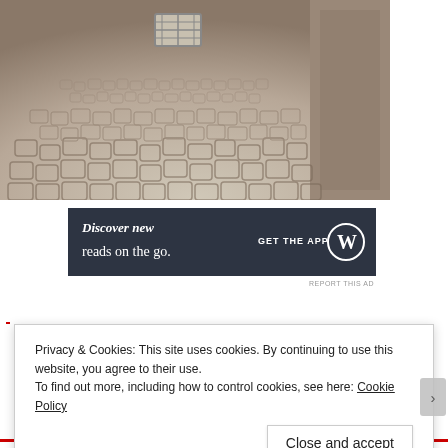[Figure (photo): Overhead/perspective view of a cobblestone courtyard or pathway with stone walls on the right side and a small skylight or grate embedded in the cobblestones near the top center.]
[Figure (screenshot): Dark navy advertisement banner: 'Discover new reads on the go.' with 'GET THE APP' text and a WordPress (W) circular logo on the right.]
REPORT THIS AD
Privacy & Cookies: This site uses cookies. By continuing to use this website, you agree to their use.
To find out more, including how to control cookies, see here: Cookie Policy
Close and accept